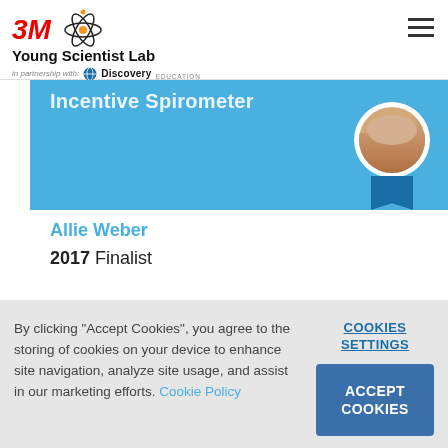3M Young Scientist Lab in partnership with Discovery Education
[Figure (screenshot): Blue banner with text 'Incentive Spirometer' partially visible at top, profile photo of Allie Weber in circular frame with teal ribbon badge]
Allie Weber
2017 Finalist
By clicking "Accept Cookies", you agree to the storing of cookies on your device to enhance site navigation, analyze site usage, and assist in our marketing efforts. Cookie Policy
COOKIES SETTINGS
ACCEPT COOKIES